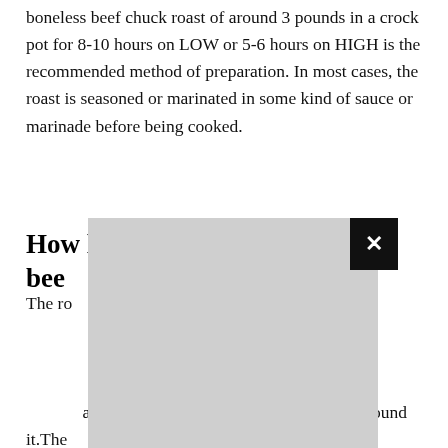boneless beef chuck roast of around 3 pounds in a crock pot for 8-10 hours on LOW or 5-6 hours on HIGH is the recommended method of preparation. In most cases, the roast is seasoned or marinated in some kind of sauce or marinade before being cooked.
How long does it take to cook a beef...
The ro... n to nine hours, ature of 145 de a meat therm on of the flesh. A a serving around it. The ur minut oil and
[Figure (other): A modal dialog overlay (grey rectangle) with a black close button (X) in the top-right corner, partially obscuring the text content on the page.]